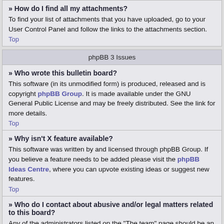» How do I find all my attachments?
To find your list of attachments that you have uploaded, go to your User Control Panel and follow the links to the attachments section.
Top
phpBB 3 Issues
» Who wrote this bulletin board?
This software (in its unmodified form) is produced, released and is copyright phpBB Group. It is made available under the GNU General Public License and may be freely distributed. See the link for more details.
Top
» Why isn't X feature available?
This software was written by and licensed through phpBB Group. If you believe a feature needs to be added please visit the phpBB Ideas Centre, where you can upvote existing ideas or suggest new features.
Top
» Who do I contact about abusive and/or legal matters related to this board?
Any of the administrators listed on the "The team" page should be an appropriate point of contact for your complaints. If this still gets no response then you should contact the owner of the domain (do